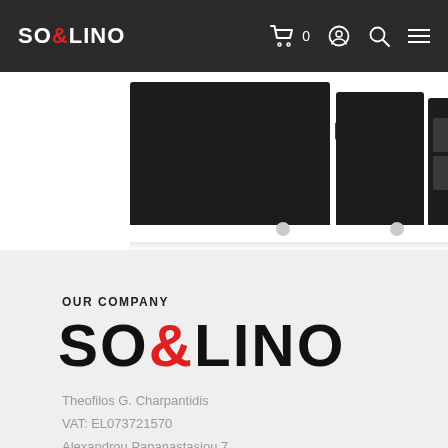SO&LINO — navigation bar with cart, user, search, and menu icons
[Figure (photo): Partial view of black electronic/audio equipment modules shown from the top, with connector dots at the bottom, against a white background]
OUR COMPANY
[Figure (logo): SO&LINO logo in large bold black text with red ampersand]
Theofilos G. Charpantidis
VAT: EL073721570
Alexandrou Papanastasiou 7